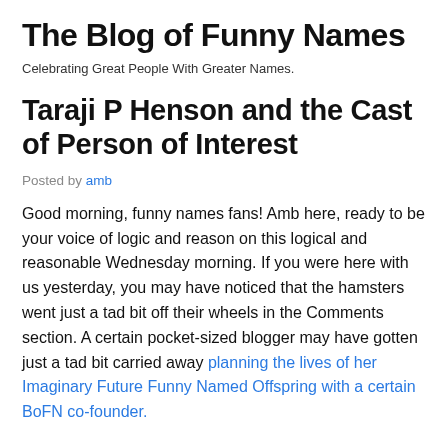The Blog of Funny Names
Celebrating Great People With Greater Names.
Taraji P Henson and the Cast of Person of Interest
Posted by amb
Good morning, funny names fans! Amb here, ready to be your voice of logic and reason on this logical and reasonable Wednesday morning. If you were here with us yesterday, you may have noticed that the hamsters went just a tad bit off their wheels in the Comments section. A certain pocket-sized blogger may have gotten just a tad bit carried away planning the lives of her Imaginary Future Funny Named Offspring with a certain BoFN co-founder.